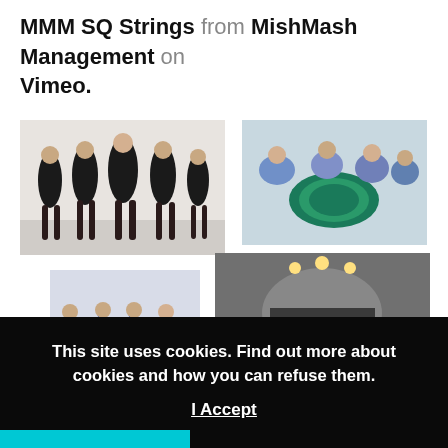MMM SQ Strings from MishMash Management on Vimeo.
[Figure (photo): Four women in black dresses posing against white background]
[Figure (photo): Group of women with teal/blue string instruments]
[Figure (photo): Group of women in blue dresses posing]
[Figure (photo): Black and white photo of string quartet performing at event]
This site uses cookies. Find out more about cookies and how you can refuse them.
I Accept